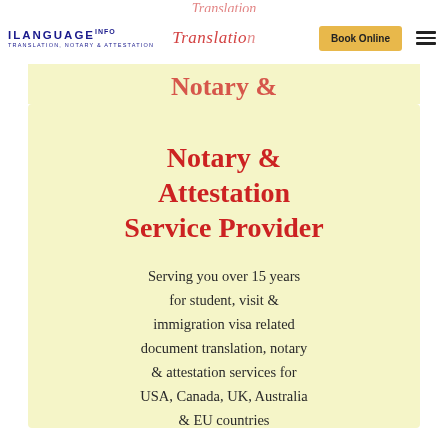iLANGUAGE INFO — TRANSLATION, NOTARY & ATTESTATION | Book Online
Notary & Attestation Service Provider
Serving you over 15 years for student, visit & immigration visa related document translation, notary & attestation services for USA, Canada, UK, Australia & EU countries